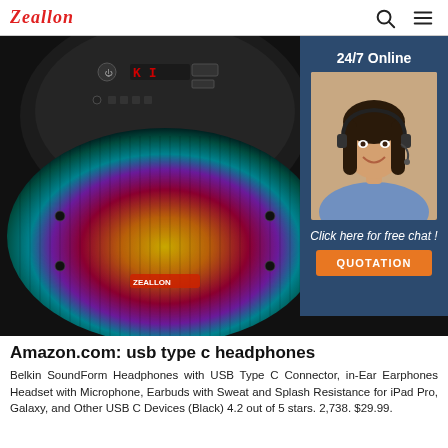Zeallon
[Figure (photo): Photo of a Zeallon portable Bluetooth speaker with colorful LED grill (teal, purple, red, gold gradient) viewed from top, alongside a 24/7 online chat widget showing a female customer service agent with headset and a QUOTATION button]
Amazon.com: usb type c headphones
Belkin SoundForm Headphones with USB Type C Connector, in-Ear Earphones Headset with Microphone, Earbuds with Sweat and Splash Resistance for iPad Pro, Galaxy, and Other USB C Devices (Black) 4.2 out of 5 stars. 2,738. $29.99.